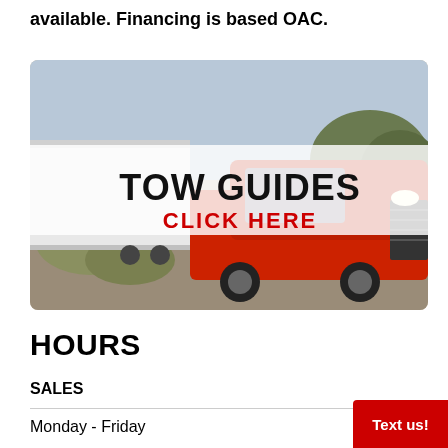available. Financing is based OAC.
[Figure (photo): Red Ford F-150 truck towing a white trailer on a dirt road, with overlay text 'TOW GUIDES' in bold black and 'CLICK HERE' in red on a semi-transparent white banner.]
HOURS
SALES
Monday - Friday
Text us!